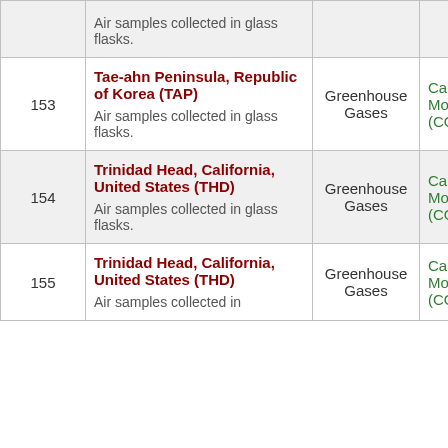| # | Location | Category | Gas |
| --- | --- | --- | --- |
|  | Air samples collected in glass flasks. |  |  |
| 153 | Tae-ahn Peninsula, Republic of Korea (TAP)
Air samples collected in glass flasks. | Greenhouse Gases | Carbon Monoxide (CO) |
| 154 | Trinidad Head, California, United States (THD)
Air samples collected in glass flasks. | Greenhouse Gases | Carbon Monoxide (CO) |
| 155 | Trinidad Head, California, United States (THD)
Air samples collected in | Greenhouse Gases | Carbon Monoxide (CO) |